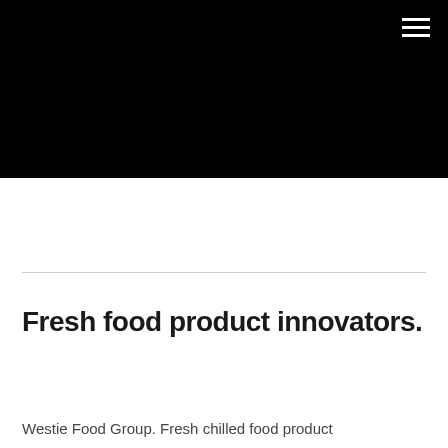[Figure (photo): Large black hero image banner at the top of the page with a hamburger menu icon in the top right corner]
Fresh food product innovators.
Westie Food Group. Fresh chilled food product